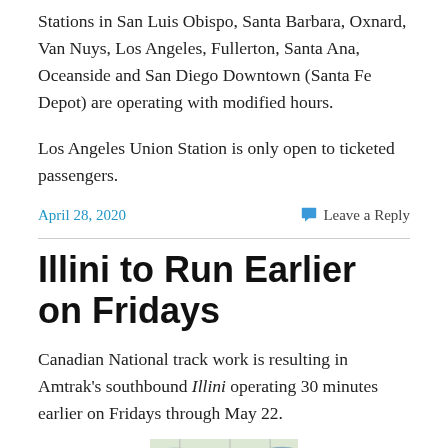Stations in San Luis Obispo, Santa Barbara, Oxnard, Van Nuys, Los Angeles, Fullerton, Santa Ana, Oceanside and San Diego Downtown (Santa Fe Depot) are operating with modified hours.
Los Angeles Union Station is only open to ticketed passengers.
April 28, 2020
Leave a Reply
Illini to Run Earlier on Fridays
Canadian National track work is resulting in Amtrak's southbound Illini operating 30 minutes earlier on Fridays through May 22.
[Figure (map): Partial map image shown at bottom of page]